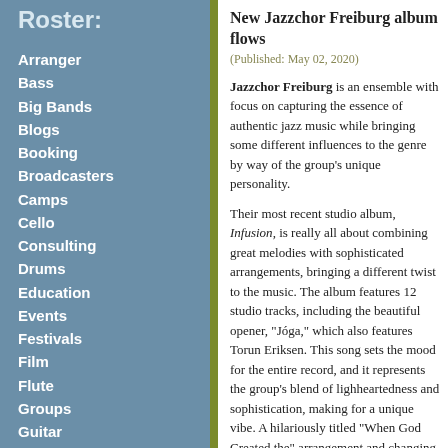Roster:
Arranger
Bass
Big Bands
Blogs
Booking
Broadcasters
Camps
Cello
Consulting
Drums
Education
Events
Festivals
Film
Flute
Groups
Guitar
Harmonica
Management
Organ
Organizations
Percussion
Piano
Producing
Publicity
Publishing
New Jazzchor Freiburg album flows
(Published: May 02, 2020)
Jazzchor Freiburg is an ensemble with focus on capturing the essence of authentic jazz music while bringing some different influences to the genre by way of the group's unique personality.

Their most recent studio album, Infusion, is really all about combining great melodies with sophisticated arrangements, bringing a different twist to the music. The album features 12 studio tracks, including the beautiful opener, "Jóga," which also features Torun Eriksen. This song sets the mood for the entire record, and it represents the group's blend of lightheartedness and sophistication, making for a unique vibe. A hilariously titled "When God Created the" arrangement and changing moods. Another starts off with a melodic intro and a dark choral arrangements to spice up the mix, a soothing and entrancing atmosphere and solo female vocals are incredibly clear and the choral elements. "Maiden Voyage" is bass sound, which works in synergy with